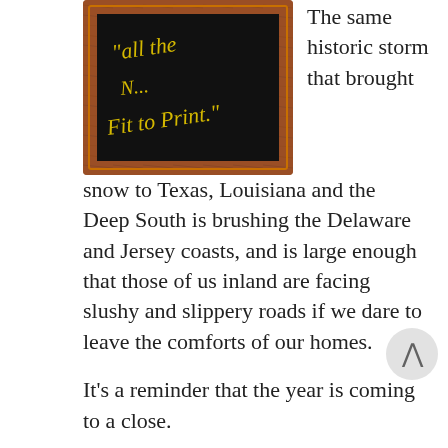[Figure (photo): Ornate framed chalkboard with cursive yellow text reading 'All the ... Fit to Print.' on black background with decorative wooden frame.]
The same historic storm that brought snow to Texas, Louisiana and the Deep South is brushing the Delaware and Jersey coasts, and is large enough that those of us inland are facing slushy and slippery roads if we dare to leave the comforts of our homes.
It's a reminder that the year is coming to a close.
'Tis the season for merriment, of course, with offic parties, family gatherings and auld lang syne, and our annual screening of It's a Wonderful Life (one of the greatest movies ever made), but it's also a time for